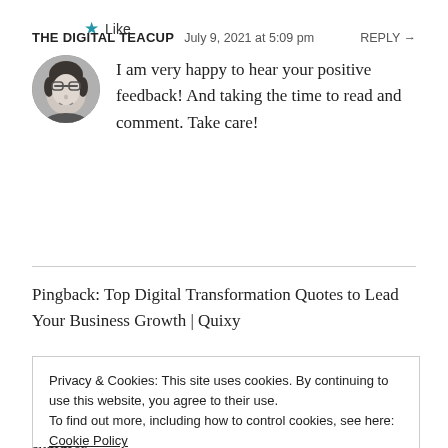THE DIGITAL TEACUP   July 9, 2021 at 5:09 pm   REPLY →
[Figure (photo): Black and white circular avatar photo of a woman with glasses, smiling]
I am very happy to hear your positive feedback! And taking the time to read and comment. Take care!
★ Like
Pingback: Top Digital Transformation Quotes to Lead Your Business Growth | Quixy
Privacy & Cookies: This site uses cookies. By continuing to use this website, you agree to their use.
To find out more, including how to control cookies, see here: Cookie Policy
Close and accept
summer.